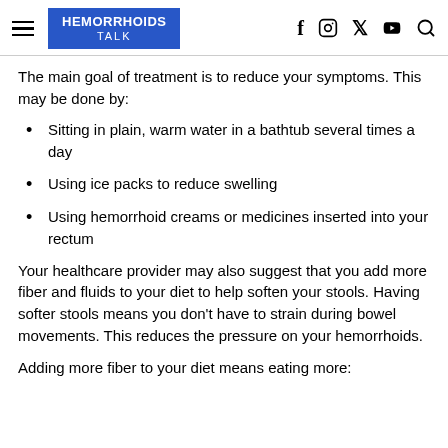HEMORRHOIDS TALK
The main goal of treatment is to reduce your symptoms. This may be done by:
Sitting in plain, warm water in a bathtub several times a day
Using ice packs to reduce swelling
Using hemorrhoid creams or medicines inserted into your rectum
Your healthcare provider may also suggest that you add more fiber and fluids to your diet to help soften your stools. Having softer stools means you don't have to strain during bowel movements. This reduces the pressure on your hemorrhoids.
Adding more fiber to your diet means eating more: